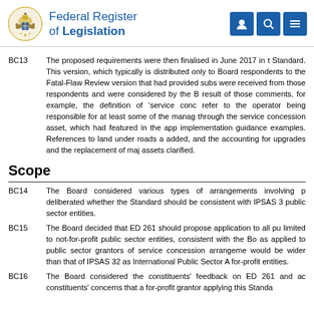Federal Register of Legislation
BC13 The proposed requirements were then finalised in June 2017 in the Standard. This version, which typically is distributed only to Board respondents to the Fatal-Flaw Review version that had provided subs were received from those respondents and were considered by the Board. As a result of those comments, for example, the definition of 'service concession' refer to the operator being responsible for at least some of the management through the service concession asset, which had featured in the application implementation guidance examples. References to land under roads added, and the accounting for upgrades and the replacement of major assets clarified.
Scope
BC14 The Board considered various types of arrangements involving public sector entities. deliberated whether the Standard should be consistent with IPSAS 32 public sector entities.
BC15 The Board decided that ED 261 should propose application to all public sector entities, not limited to not-for-profit public sector entities, consistent with the Board's decision as applied to public sector grantors of service concession arrangements. The scope would be wider than that of IPSAS 32 as International Public Sector Accounting Standards for-profit entities.
BC16 The Board considered the constituents' feedback on ED 261 and acknowledged constituents' concerns that a for-profit grantor applying this Standard